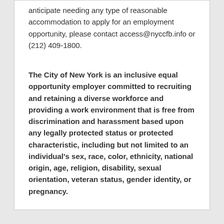anticipate needing any type of reasonable accommodation to apply for an employment opportunity, please contact access@nyccfb.info or (212) 409-1800.
The City of New York is an inclusive equal opportunity employer committed to recruiting and retaining a diverse workforce and providing a work environment that is free from discrimination and harassment based upon any legally protected status or protected characteristic, including but not limited to an individual's sex, race, color, ethnicity, national origin, age, religion, disability, sexual orientation, veteran status, gender identity, or pregnancy.